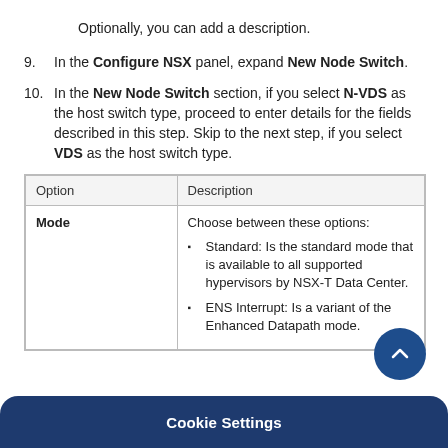Optionally, you can add a description.
9. In the Configure NSX panel, expand New Node Switch.
10. In the New Node Switch section, if you select N-VDS as the host switch type, proceed to enter details for the fields described in this step. Skip to the next step, if you select VDS as the host switch type.
| Option | Description |
| --- | --- |
| Mode | Choose between these options:
• Standard: Is the standard mode that is available to all supported hypervisors by NSX-T Data Center.
• ENS Interrupt: Is a variant of the Enhanced Datapath mode. |